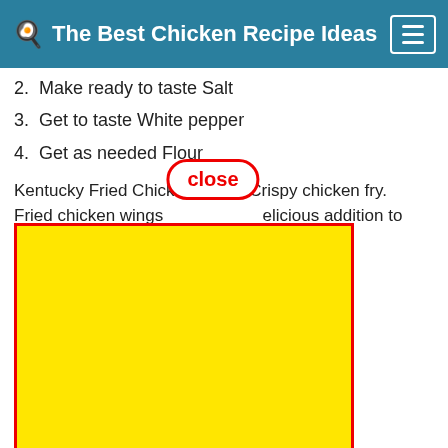The Best Chicken Recipe Ideas
2. Make ready to taste Salt
3. Get to taste White pepper
4. Get as needed Flour
Kentucky Fried Chicken. Spicy Crispy chicken fry. Fried chicken wings are a delicious addition to any meal occasion. these twice seasoned in
Instructions for wings:
1. Take them in the mixture. Then fry until golden brown
[Figure (other): Yellow advertisement block with red border overlaying body text, with a red-bordered 'close' button above it]